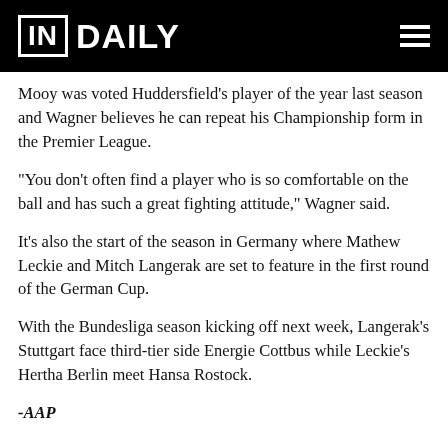IN DAILY
Mooy was voted Huddersfield's player of the year last season and Wagner believes he can repeat his Championship form in the Premier League.
“You don’t often find a player who is so comfortable on the ball and has such a great fighting attitude,” Wagner said.
It’s also the start of the season in Germany where Mathew Leckie and Mitch Langerak are set to feature in the first round of the German Cup.
With the Bundesliga season kicking off next week, Langerak’s Stuttgart face third-tier side Energie Cottbus while Leckie’s Hertha Berlin meet Hansa Rostock.
-AAP